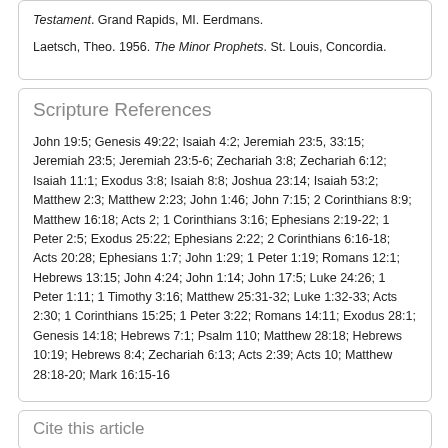Testament. Grand Rapids, MI. Eerdmans.

Laetsch, Theo. 1956. The Minor Prophets. St. Louis, Concordia.
Scripture References
John 19:5; Genesis 49:22; Isaiah 4:2; Jeremiah 23:5, 33:15; Jeremiah 23:5; Jeremiah 23:5-6; Zechariah 3:8; Zechariah 6:12; Isaiah 11:1; Exodus 3:8; Isaiah 8:8; Joshua 23:14; Isaiah 53:2; Matthew 2:3; Matthew 2:23; John 1:46; John 7:15; 2 Corinthians 8:9; Matthew 16:18; Acts 2; 1 Corinthians 3:16; Ephesians 2:19-22; 1 Peter 2:5; Exodus 25:22; Ephesians 2:22; 2 Corinthians 6:16-18; Acts 20:28; Ephesians 1:7; John 1:29; 1 Peter 1:19; Romans 12:1; Hebrews 13:15; John 4:24; John 1:14; John 17:5; Luke 24:26; 1 Peter 1:11; 1 Timothy 3:16; Matthew 25:31-32; Luke 1:32-33; Acts 2:30; 1 Corinthians 15:25; 1 Peter 3:22; Romans 14:11; Exodus 28:1; Genesis 14:18; Hebrews 7:1; Psalm 110; Matthew 28:18; Hebrews 10:19; Hebrews 8:4; Zechariah 6:13; Acts 2:39; Acts 10; Matthew 28:18-20; Mark 16:15-16
Cite this article